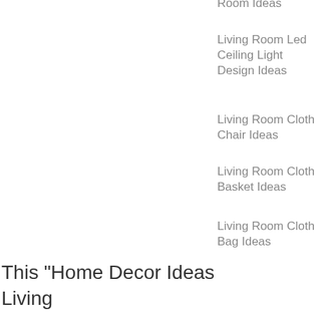Room Ideas
Living Room Led Ceiling Light Design Ideas
Living Room Cloth Chair Ideas
Living Room Cloth Basket Ideas
Living Room Cloth Bag Ideas
This "Home Decor Ideas Living